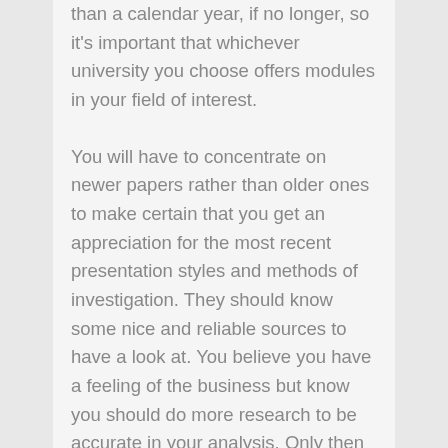than a calendar year, if no longer, so it's important that whichever university you choose offers modules in your field of interest.
You will have to concentrate on newer papers rather than older ones to make certain that you get an appreciation for the most recent presentation styles and methods of investigation. They should know some nice and reliable sources to have a look at. You believe you have a feeling of the business but know you should do more research to be accurate in your analysis. Only then can you want to finish a worthwhile bit